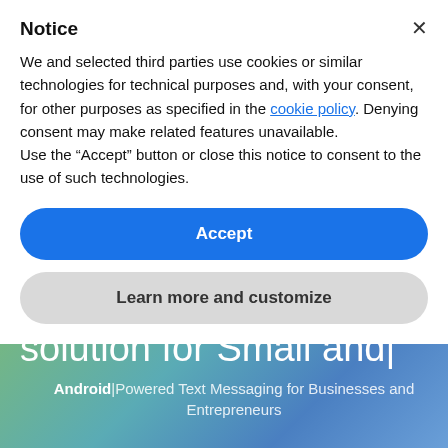Notice
We and selected third parties use cookies or similar technologies for technical purposes and, with your consent, for other purposes as specified in the cookie policy. Denying consent may make related features unavailable.
Use the “Accept” button or close this notice to consent to the use of such technologies.
Accept
Learn more and customize
solution for Small and|
Android|Powered Text Messaging for Businesses and Entrepreneurs